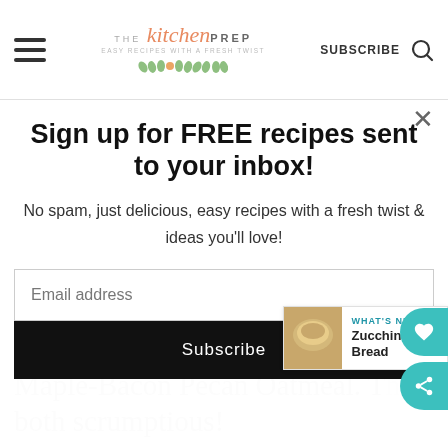THE Kitchen PREP — SUBSCRIBE
Sign up for FREE recipes sent to your inbox!
No spam, just delicious, easy recipes with a fresh twist & ideas you'll love!
Email address
Subscribe
Maple-Bacon Pecan Oatmeal. They both scrumptious!
WHAT'S NEXT → Zucchini Bread